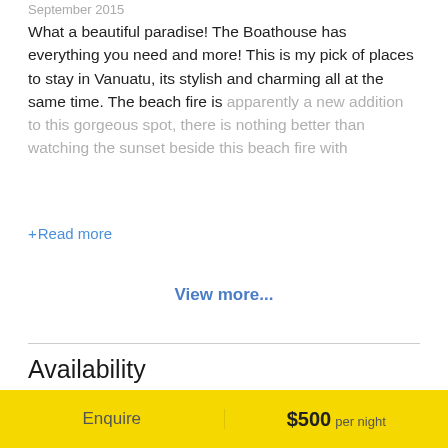September 2015
What a beautiful paradise!  The Boathouse has everything you need and more!  This is my pick of places to stay in Vanuatu, its stylish and charming all at the same time.  The beach fire is apparently a new addition to this gorgeous spot, there is nothing better than watching the sunset beside this beach fire with
+Read more
View more...
Availability
← August 2022 →
Enquire   $500 per night